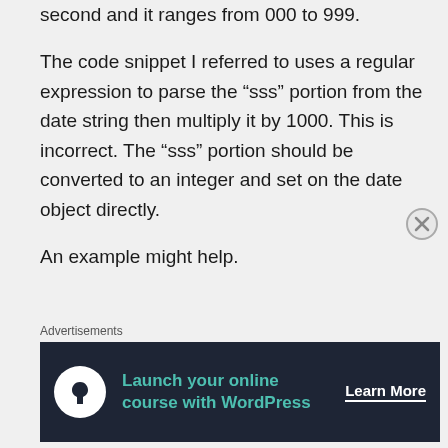second and it ranges from 000 to 999.
The code snippet I referred to uses a regular expression to parse the “sss” portion from the date string then multiply it by 1000. This is incorrect. The “sss” portion should be converted to an integer and set on the date object directly.
An example might help.
[Figure (other): Advertisement banner: Launch your online course with WordPress. Learn More button. Dark background with teal text and a person/tree logo icon.]